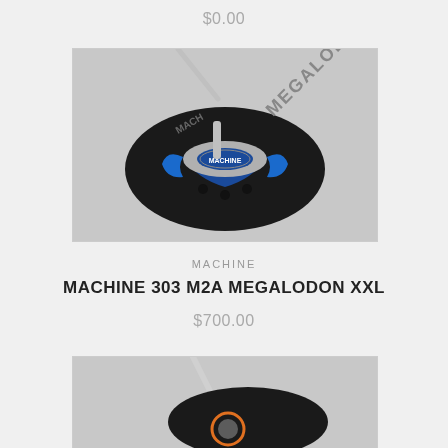$0.00
[Figure (photo): Golf putter head (Machine 303 M2A Megalodon XXL) with blue insert and silver body, shown with black headcover labeled MEGALODON on a grey background]
MACHINE
MACHINE 303 M2A MEGALODON XXL
$700.00
[Figure (photo): Partial view of another golf putter with silver shaft and black headcover with orange branding, cropped at bottom of page]